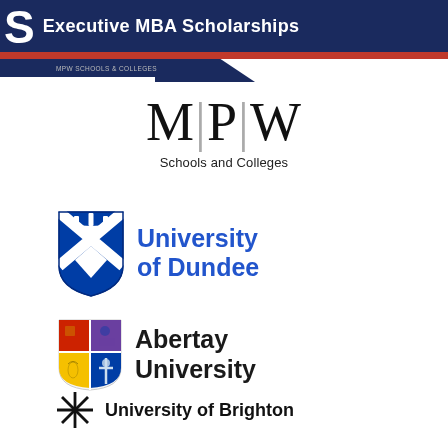Executive MBA Scholarships
[Figure (logo): MPW Schools and Colleges logo with large serif M|P|W lettering and subtitle 'Schools and Colleges']
[Figure (logo): University of Dundee logo with blue shield crest and blue bold text 'University of Dundee']
[Figure (logo): Abertay University logo with colourful shield crest and bold dark text 'Abertay University']
[Figure (logo): University of Brighton logo with asterisk/star symbol and bold text 'University of Brighton']